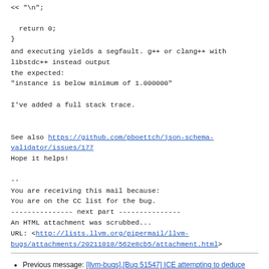<< "\n";

  return 0;
}
and executing yields a segfault. g++ or clang++ with
libstdc++ instead output
the expected:
"instance is below minimum of 1.000000"

I've added a full stack trace.


See also https://github.com/pboettch/json-schema-validator/issues/177
Hope it helps!

--
You are receiving this mail because:
You are on the CC list for the bug.
--------------- next part ---------------
An HTML attachment was scrubbed...
URL: <http://lists.llvm.org/pipermail/llvm-bugs/attachments/20211018/562e8cb5/attachment.html>
Previous message: [llvm-bugs],[Bug 51547] ICE attempting to deduce array of class template in new-expression
Next message: [llvm-bugs],[Bug 52210] New: Failure to